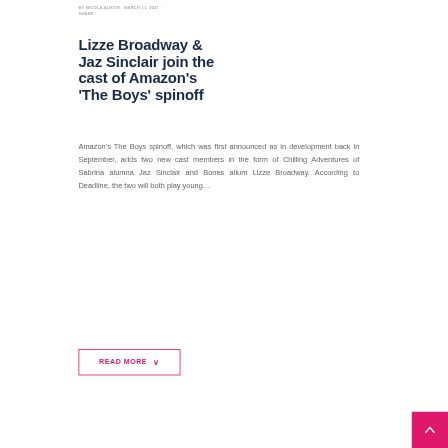BY NICOLA AUSTIN · MARCH 11, 2021 · SHARE
Lizze Broadway & Jaz Sinclair join the cast of Amazon's 'The Boys' spinoff
Amazon's The Boys spinoff, which was first announced as in development back in September, adds two new cast members in the form of Chilling Adventures of Sabrina alumna Jaz Sinclair and Bones allum Lizze Broadway. According to Deadline, the two will both play young…
READ MORE